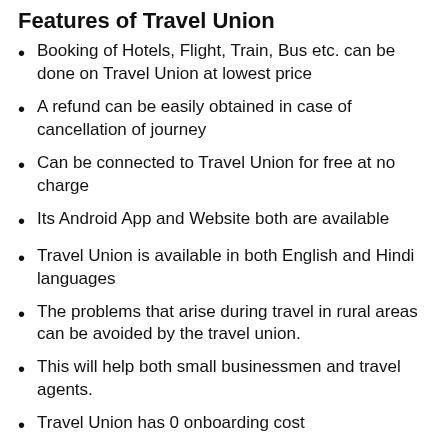Features of Travel Union
Booking of Hotels, Flight, Train, Bus etc. can be done on Travel Union at lowest price
A refund can be easily obtained in case of cancellation of journey
Can be connected to Travel Union for free at no charge
Its Android App and Website both are available
Travel Union is available in both English and Hindi languages
The problems that arise during travel in rural areas can be avoided by the travel union.
This will help both small businessmen and travel agents.
Travel Union has 0 onboarding cost